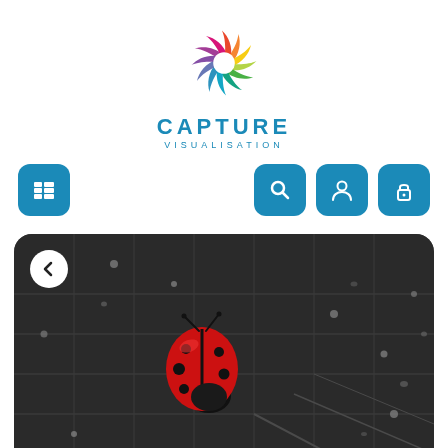[Figure (logo): Capture Visualisation logo — circular multicolour swirl icon above text 'CAPTURE VISUALISATION']
[Figure (screenshot): Mobile app UI navigation bar with a menu (list) icon button on the left and search, person, and lock icon buttons on the right, all on teal/blue rounded square backgrounds]
[Figure (photo): Close-up photo of a red ladybug on a dark circuit board, with water droplets, in black and white except for the red ladybug. A white circular back-arrow button overlays the top-left.]